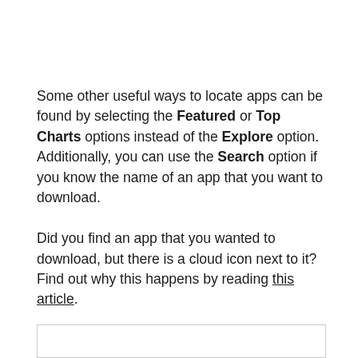Some other useful ways to locate apps can be found by selecting the Featured or Top Charts options instead of the Explore option. Additionally, you can use the Search option if you know the name of an app that you want to download.
Did you find an app that you wanted to download, but there is a cloud icon next to it? Find out why this happens by reading this article.